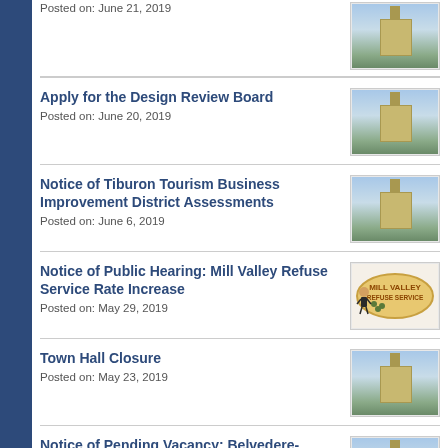Apply for the Design Review Board
Posted on: June 20, 2019
Notice of Tiburon Tourism Business Improvement District Assessments
Posted on: June 6, 2019
Notice of Public Hearing: Mill Valley Refuse Service Rate Increase
Posted on: May 29, 2019
Town Hall Closure
Posted on: May 23, 2019
Notice of Pending Vacancy: Belvedere-Tiburon Library Agency Board of Trustees
Posted on: May 23, 2019